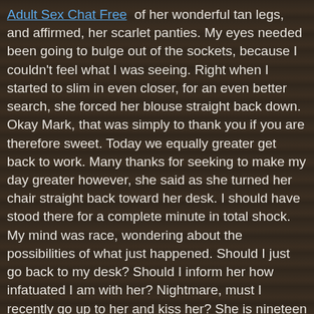Adult Sex Chat Free of her wonderful tan legs, and affirmed, her scarlet panties. My eyes needed been going to bulge out of the sockets, because I couldn't feel what I was seeing. Right when I started to slim in even closer, for an even better search, she forced her blouse straight back down. Okay Mark, that was simply to thank you if you are therefore sweet. Today we equally greater get back to work. Many thanks for seeking to make my day greater however, she said as she turned her chair straight back toward her desk. I should have stood there for a complete minute in total shock. My mind was race, wondering about the possibilities of what just happened. Should I just go back to my desk? Should I inform her how infatuated I am with her? Nightmare, must I recently go up to her and kiss her? She is nineteen years older than me, and we are both committed , therefore it's mad to consider we could actually land up. I decided to only return to my workplace, and try to determine a way to give attention to work. Today it's 1:15pm, and I simply delivered from my desk, following coming down to the toilet to idiot off. I do not usually do this at the job, but somebody had stuffed my brain with lust. I would be pleased that it needed three hours for the temptation to finally gain over. I turn towards